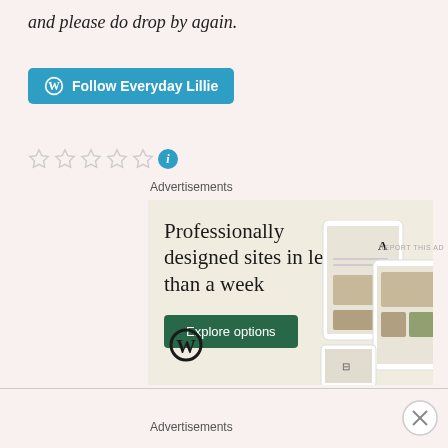and please do drop by again.
[Figure (other): Blue 'Follow Everyday Lillie' button with WordPress icon]
[Figure (other): Five empty star rating icons followed by a blue info circle]
Advertisements
[Figure (other): WordPress advertisement: 'Professionally designed sites in less than a week' with Explore options button and device mockups]
REPORT THIS AD
Advertisements